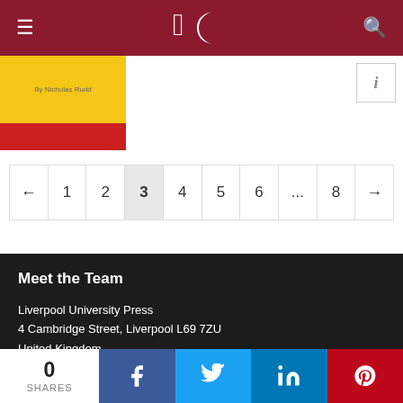Liverpool University Press website header with navigation menu, logo, and search
[Figure (photo): Book cover thumbnail with yellow and red bands]
i (info button)
← 1 2 3 4 5 6 ... 8 →
Meet the Team
Liverpool University Press
4 Cambridge Street, Liverpool L69 7ZU
United Kingdom
[Figure (infographic): Social media icons: Twitter, Facebook, Instagram, LinkedIn, RSS]
Quick Navigation
0 SHARES | Facebook | Twitter | LinkedIn | Pinterest